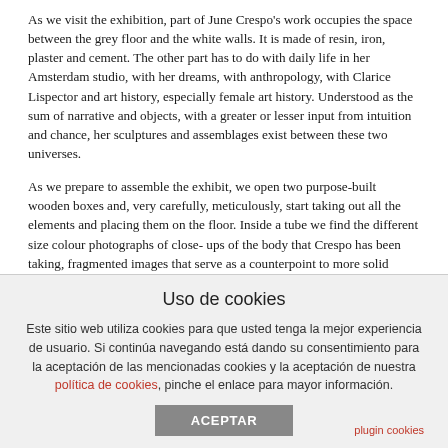As we visit the exhibition, part of June Crespo's work occupies the space between the grey floor and the white walls. It is made of resin, iron, plaster and cement. The other part has to do with daily life in her Amsterdam studio, with her dreams, with anthropology, with Clarice Lispector and art history, especially female art history. Understood as the sum of narrative and objects, with a greater or lesser input from intuition and chance, her sculptures and assemblages exist between these two universes.
As we prepare to assemble the exhibit, we open two purpose-built wooden boxes and, very carefully, meticulously, start taking out all the elements and placing them on the floor. Inside a tube we find the different size colour photographs of close-ups of the body that Crespo has been taking, fragmented images that serve as a counterpoint to more solid objects or volumes. In a separate box we find some old magazines, specifically issues of Avant-Garde (1968–1971), a New York magazine critical of the government and American society, with allusions to explicit sexual themes and psychedelia. Next to the magazines we find some A4 plastic folders containing dried flowers and dust from the studio. There is also a box with six glasses, some glass holders, and very fragile shapeless pieces of black resin. Outside the box we find two steel rods about three metres long. From the van we take two radiators: those with a single rectangular plate typically used in northern Europe. These are just some of the elements that will form part of two of June Crespo's works, Chance Album (Isa) and Chance Album (Queen). From a
Uso de cookies
Este sitio web utiliza cookies para que usted tenga la mejor experiencia de usuario. Si continúa navegando está dando su consentimiento para la aceptación de las mencionadas cookies y la aceptación de nuestra política de cookies, pinche el enlace para mayor información.